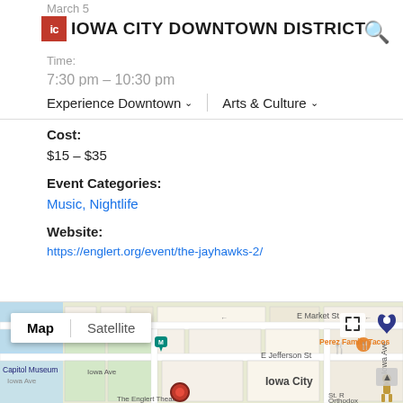March 5
[Figure (logo): Iowa City Downtown District logo with red IC icon and bold text]
Time:
7:30 pm – 10:30 pm
Experience Downtown ∨   Arts & Culture ∨
Cost:
$15 – $35
Event Categories:
Music, Nightlife
Website:
https://englert.org/event/the-jayhawks-2/
[Figure (map): Google Maps view showing Iowa City area with Capitol Museum, Iowa Ave, The Englert Theatre, Perez Family Tacos, E Jefferson St, E Market St labels and various map pins]